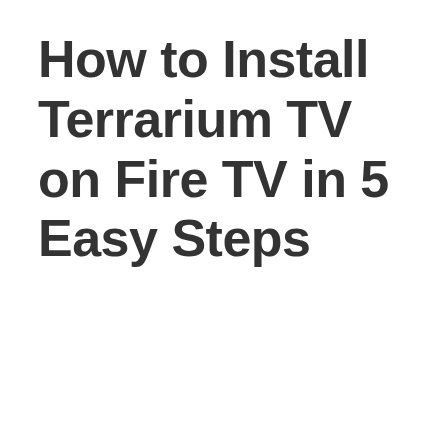How to Install Terrarium TV on Fire TV in 5 Easy Steps